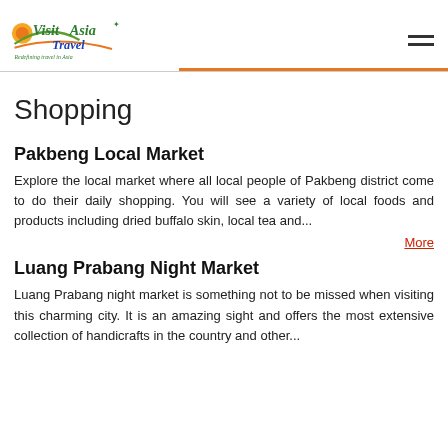Visit Asia Travel — Redefining travel in Asia
Shopping
Pakbeng Local Market
Explore the local market where all local people of Pakbeng district come to do their daily shopping. You will see a variety of local foods and products including dried buffalo skin, local tea and...
More
Luang Prabang Night Market
Luang Prabang night market is something not to be missed when visiting this charming city. It is an amazing sight and offers the most extensive collection of handicrafts in the country and other...